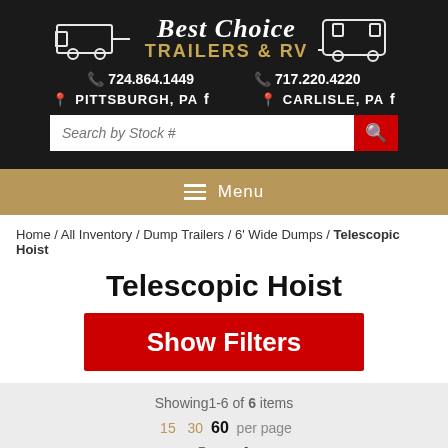[Figure (logo): Best Choice Trailers & RV logo with trailer silhouettes on black background]
724.864.1449   717.220.4220
PITTSBURGH, PA   CARLISLE, PA
[Figure (screenshot): Search by Stock # input field with red search button]
Menu
Home / All Inventory / Dump Trailers / 6' Wide Dumps / Telescopic Hoist
Telescopic Hoist
Show Filters
Showing 1-6 of 6 items
15   30   60   per page
Page:  1